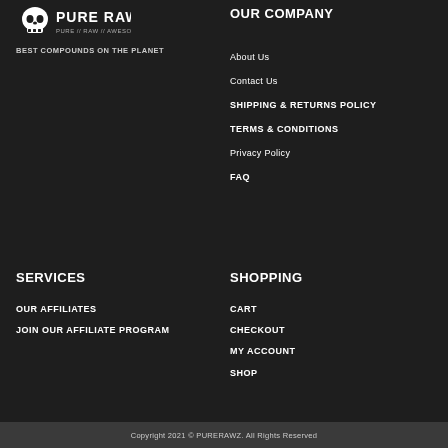[Figure (logo): Pure Rawz skull logo with text PURE RAWZ and tagline PURE // RAW // AWESOME]
BEST COMPOUNDS ON THE PLANET
OUR COMPANY
About Us
Contact Us
SHIPPING & RETURNS POLICY
TERMS & CONDITIONS
Privacy Policy
FAQ
SERVICES
SHOPPING
OUR AFFILIATES
JOIN OUR AFFILIATE PROGRAM
CART
CHECKOUT
MY ACCOUNT
SHOP
Copyright 2021 © PURERAWZ. All Rights Reserved